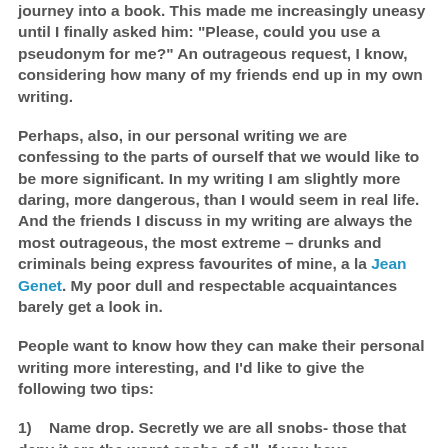journey into a book. This made me increasingly uneasy until I finally asked him: "Please, could you use a pseudonym for me?" An outrageous request, I know, considering how many of my friends end up in my own writing.
Perhaps, also, in our personal writing we are confessing to the parts of ourself that we would like to be more significant. In my writing I am slightly more daring, more dangerous, than I would seem in real life. And the friends I discuss in my writing are always the most outrageous, the most extreme – drunks and criminals being express favourites of mine, a la Jean Genet. My poor dull and respectable acquaintances barely get a look in.
People want to know how they can make their personal writing more interesting, and I'd like to give the following two tips:
1)    Name drop. Secretly we are all snobs- those that deny it are the worst snobs of all. If you have